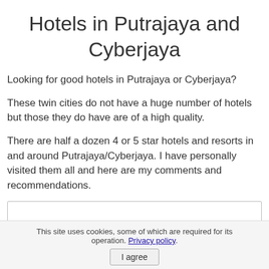Hotels in Putrajaya and Cyberjaya
Looking for good hotels in Putrajaya or Cyberjaya?
These twin cities do not have a huge number of hotels but those they do have are of a high quality.
There are half a dozen 4 or 5 star hotels and resorts in and around Putrajaya/Cyberjaya. I have personally visited them all and here are my comments and recommendations.
This site uses cookies, some of which are required for its operation. Privacy policy.
I agree